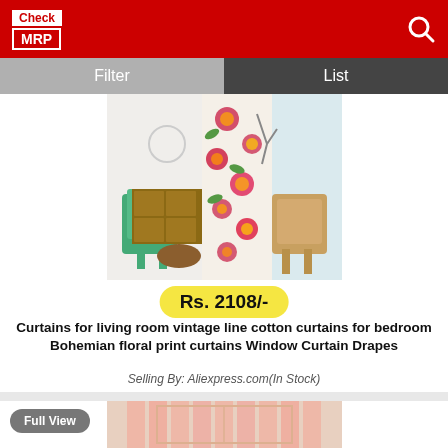[Figure (logo): Check MRP logo — white text on red background]
Filter
List
[Figure (photo): Room with floral bohemian curtains, green chair, wooden dresser, and wicker chair near window]
Rs. 2108/-
Curtains for living room vintage line cotton curtains for bedroom Bohemian floral print curtains Window Curtain Drapes
Selling By: Aliexpress.com(In Stock)
Full View
[Figure (photo): Pink sheer curtains on a window, partially visible]